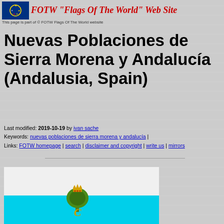FOTW "Flags Of The World" Web Site
This page is part of © FOTW Flags Of The World website
Nuevas Poblaciones de Sierra Morena y Andalucía (Andalusia, Spain)
Last modified: 2019-10-19 by ivan sache
Keywords: nuevas poblaciones de sierra morena y andalucía |
Links: FOTW homepage | search | disclaimer and copyright | write us | mirrors
[Figure (illustration): Flag of Nuevas Poblaciones de Sierra Morena y Andalucía — white top half and cyan/light blue bottom half, with a green tree and golden royal crown emblem in the center]